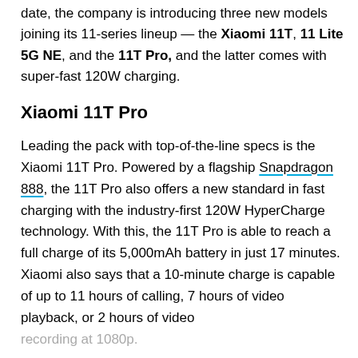date, the company is introducing three new models joining its 11-series lineup — the Xiaomi 11T, 11 Lite 5G NE, and the 11T Pro, and the latter comes with super-fast 120W charging.
Xiaomi 11T Pro
Leading the pack with top-of-the-line specs is the Xiaomi 11T Pro. Powered by a flagship Snapdragon 888, the 11T Pro also offers a new standard in fast charging with the industry-first 120W HyperCharge technology. With this, the 11T Pro is able to reach a full charge of its 5,000mAh battery in just 17 minutes. Xiaomi also says that a 10-minute charge is capable of up to 11 hours of calling, 7 hours of video playback, or 2 hours of video recording at 1080p.